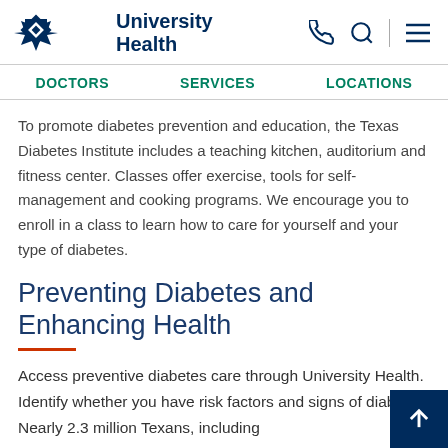University Health
DOCTORS   SERVICES   LOCATIONS
To promote diabetes prevention and education, the Texas Diabetes Institute includes a teaching kitchen, auditorium and fitness center. Classes offer exercise, tools for self-management and cooking programs. We encourage you to enroll in a class to learn how to care for yourself and your type of diabetes.
Preventing Diabetes and Enhancing Health
Access preventive diabetes care through University Health. Identify whether you have risk factors and signs of diabetes. Nearly 2.3 million Texans, including